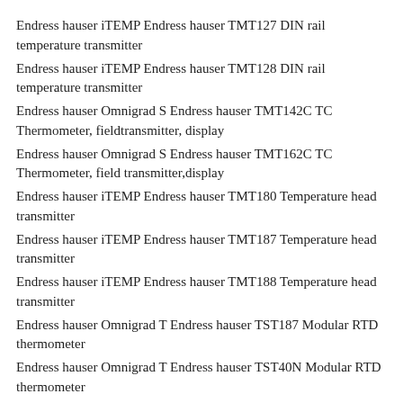Endress hauser iTEMP Endress hauser TMT127 DIN rail temperature transmitter
Endress hauser iTEMP Endress hauser TMT128 DIN rail temperature transmitter
Endress hauser Omnigrad S Endress hauser TMT142C TC Thermometer, fieldtransmitter, display
Endress hauser Omnigrad S Endress hauser TMT162C TC Thermometer, field transmitter,display
Endress hauser iTEMP Endress hauser TMT180 Temperature head transmitter
Endress hauser iTEMP Endress hauser TMT187 Temperature head transmitter
Endress hauser iTEMP Endress hauser TMT188 Temperature head transmitter
Endress hauser Omnigrad T Endress hauser TST187 Modular RTD thermometer
Endress hauser Omnigrad T Endress hauser TST40N Modular RTD thermometer
Endress hauser Omnigrad T Endress hauser TST410  Modular RTD thermometer
Endress hauser Omnigrad T Endress hauser TST414  Modular RTD